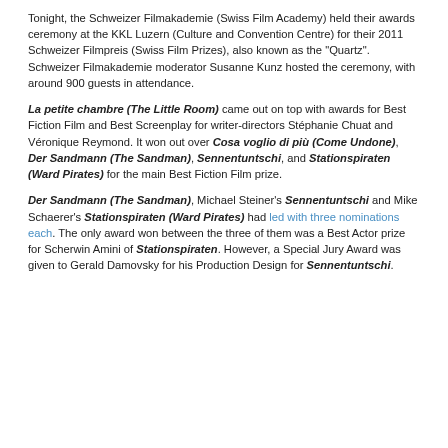Tonight, the Schweizer Filmakademie (Swiss Film Academy) held their awards ceremony at the KKL Luzern (Culture and Convention Centre) for their 2011 Schweizer Filmpreis (Swiss Film Prizes), also known as the "Quartz". Schweizer Filmakademie moderator Susanne Kunz hosted the ceremony, with around 900 guests in attendance.
La petite chambre (The Little Room) came out on top with awards for Best Fiction Film and Best Screenplay for writer-directors Stéphanie Chuat and Véronique Reymond. It won out over Cosa voglio di più (Come Undone), Der Sandmann (The Sandman), Sennentuntschi, and Stationspiraten (Ward Pirates) for the main Best Fiction Film prize.
Der Sandmann (The Sandman), Michael Steiner's Sennentuntschi and Mike Schaerer's Stationspiraten (Ward Pirates) had led with three nominations each. The only award won between the three of them was a Best Actor prize for Scherwin Amini of Stationspiraten. However, a Special Jury Award was given to Gerald Damovsky for his Production Design for Sennentuntschi.